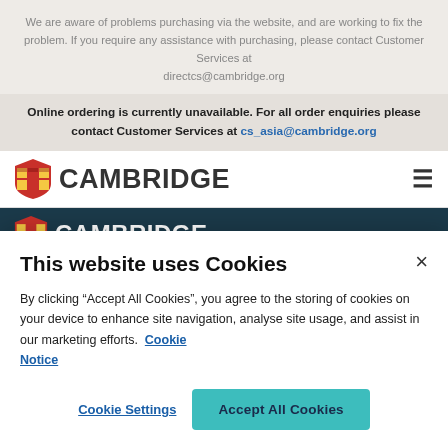We are aware of problems purchasing via the website, and are working to fix the problem. If you require any assistance with purchasing, please contact Customer Services at directcs@cambridge.org
Online ordering is currently unavailable. For all order enquiries please contact Customer Services at cs_asia@cambridge.org
[Figure (logo): Cambridge University Press logo with shield crest and CAMBRIDGE text, navigation bar white background with hamburger menu icon]
[Figure (logo): Cambridge University Press logo with shield crest and CAMBRIDGE text on dark teal navigation bar with chevron icon]
This website uses Cookies
By clicking “Accept All Cookies”, you agree to the storing of cookies on your device to enhance site navigation, analyse site usage, and assist in our marketing efforts. Cookie Notice
Cookie Settings
Accept All Cookies